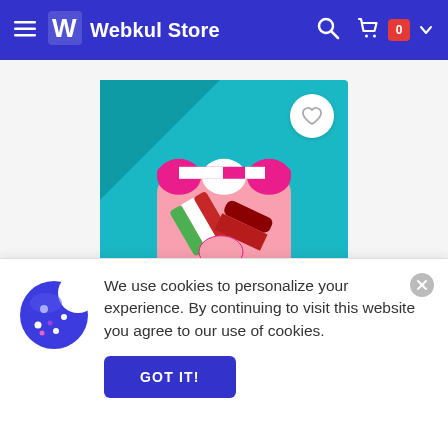Webkul Store
[Figure (screenshot): Product image on teal background showing a marketplace handshake icon with pink awning, on a pink square tile. A white heart/wishlist button in top right corner. A 'Live Chat' button in bottom right.]
We use cookies to personalize your experience. By continuing to visit this website you agree to our use of cookies.
GOT IT!